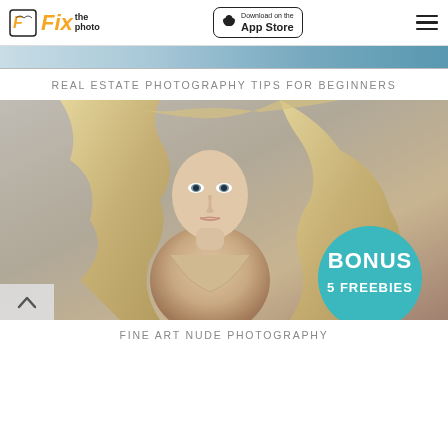Fix the Photo | Download on the App Store
[Figure (photo): Partial top strip of a real estate interior photo]
REAL ESTATE PHOTOGRAPHY TIPS FOR BEGINNERS
[Figure (photo): Fine art nude photography of a blonde woman with flowing hair, with a teal BONUS 5 FREEBIES badge overlay in the bottom right]
FINE ART NUDE PHOTOGRAPHY